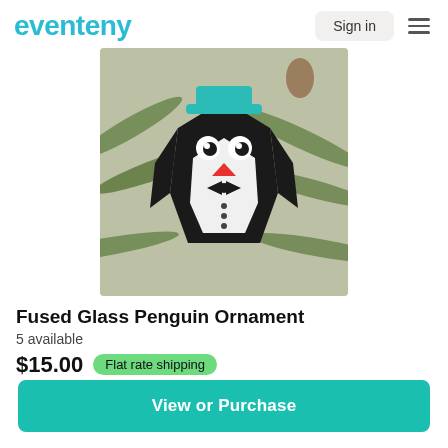eventeny
[Figure (photo): A fused glass penguin ornament wearing a teal hat and bow tie, photographed against pine branches.]
Fused Glass Penguin Ornament
5 available
$15.00  Flat rate shipping
View or Purchase